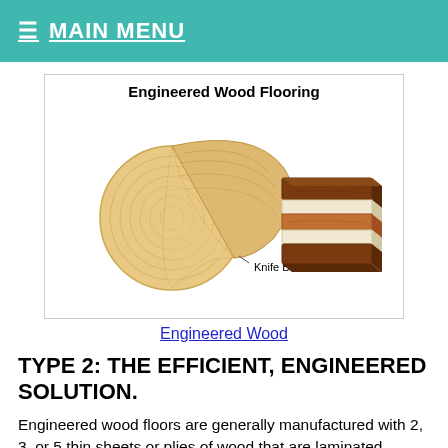≡ MAIN MENU
[Figure (illustration): Engineered Wood Flooring illustration showing a rolled wood veneer sheet with a knife blade label, and a layered engineered wood plank cross-section on the right. Title reads 'Engineered Wood Flooring'.]
Engineered Wood
TYPE 2: THE EFFICIENT, ENGINEERED SOLUTION.
Engineered wood floors are generally manufactured with 2, 3, or 5 thin sheets or plies of wood that are laminated together to form one plank.
The veneer is cut by rotating a log against the sharp edge of a blade, the...